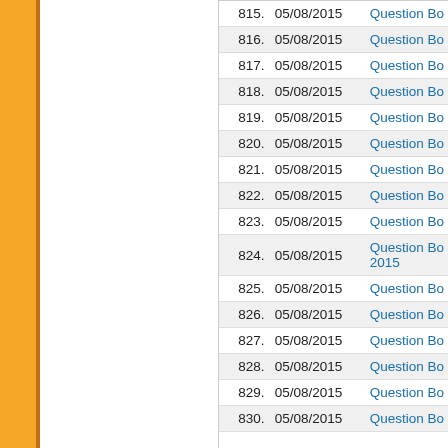| # | Date | Link |
| --- | --- | --- |
| 815. | 05/08/2015 | Question Bo |
| 816. | 05/08/2015 | Question Bo |
| 817. | 05/08/2015 | Question Bo |
| 818. | 05/08/2015 | Question Bo |
| 819. | 05/08/2015 | Question Bo |
| 820. | 05/08/2015 | Question Bo |
| 821. | 05/08/2015 | Question Bo |
| 822. | 05/08/2015 | Question Bo |
| 823. | 05/08/2015 | Question Bo |
| 824. | 05/08/2015 | Question Bo
2015 |
| 825. | 05/08/2015 | Question Bo |
| 826. | 05/08/2015 | Question Bo |
| 827. | 05/08/2015 | Question Bo |
| 828. | 05/08/2015 | Question Bo |
| 829. | 05/08/2015 | Question Bo |
| 830. | 05/08/2015 | Question Bo |